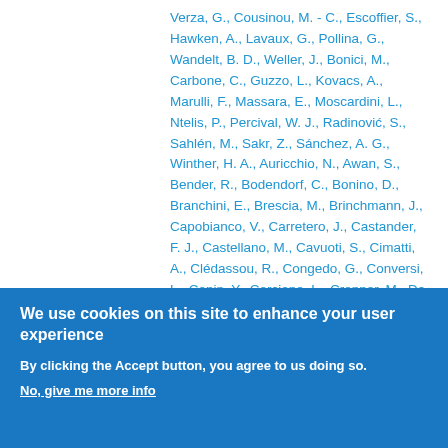Verza, G., Cousinou, M. - C., Escoffier, S., Hawken, A., Lavaux, G., Pollina, G., Wandelt, B. D., Weller, J., Bonici, M., Carbone, C., Guzzo, L., Kovacs, A., Marulli, F., Massara, E., Moscardini, L., Ntelis, P., Percival, W. J., Radinović, S., Sahlén, M., Sakr, Z., Sánchez, A. G., Winther, H. A., Auricchio, N., Awan, S., Bender, R., Bodendorf, C., Bonino, D., Branchini, E., Brescia, M., Brinchmann, J., Capobianco, V., Carretero, J., Castander, F. J., Castellano, M., Cavuoti, S., Cimatti, A., Clédassou, R., Congedo, G., Conversi, L., Copin, Y., Corcione, L., Cropper, M., Da Silva, A., Degaudenzi, H., Douspis, M., Dubath, F., Duncan, C. A. J., Dupac, X., Dusini, S., Ealet, A., Ferriol, S., Fosalba, P., Frailis, M., Franceschi, E., Franzetti, P., Fumana, M.
We use cookies on this site to enhance your user experience
By clicking the Accept button, you agree to us doing so.
No, give me more info